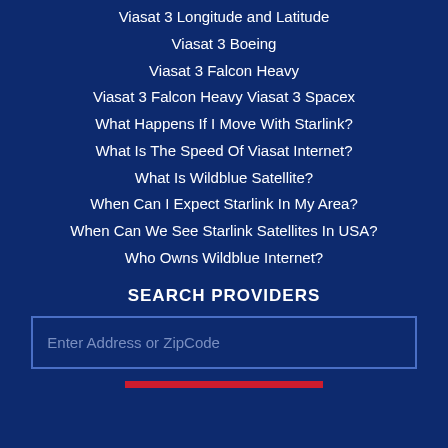Viasat 3 Longitude and Latitude
Viasat 3 Boeing
Viasat 3 Falcon Heavy
Viasat 3 Falcon Heavy Viasat 3 Spacex
What Happens If I Move With Starlink?
What Is The Speed Of Viasat Internet?
What Is Wildblue Satellite?
When Can I Expect Starlink In My Area?
When Can We See Starlink Satellites In USA?
Who Owns Wildblue Internet?
SEARCH PROVIDERS
Enter Address or ZipCode